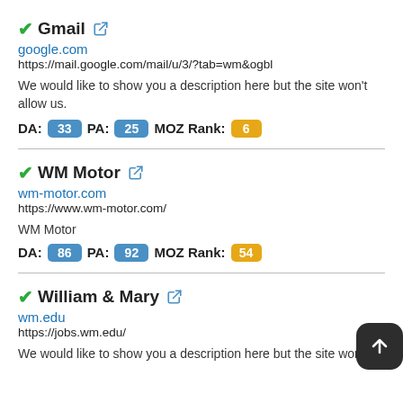Gmail
google.com
https://mail.google.com/mail/u/3/?tab=wm&ogbl
We would like to show you a description here but the site won't allow us.
DA: 33 PA: 25 MOZ Rank: 6
WM Motor
wm-motor.com
https://www.wm-motor.com/
WM Motor
DA: 86 PA: 92 MOZ Rank: 54
William & Mary
wm.edu
https://jobs.wm.edu/
We would like to show you a description here but the site won't